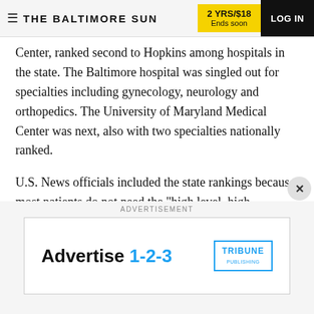THE BALTIMORE SUN | 2 YRS/$18 Ends soon | LOG IN
Center, ranked second to Hopkins among hospitals in the state. The Baltimore hospital was singled out for specialties including gynecology, neurology and orthopedics. The University of Maryland Medical Center was next, also with two specialties nationally ranked.
U.S. News officials included the state rankings because most patients do not need the "high level, high-complexity care the best-hospitals rankings evaluate," Harder said. The local rankings can help
ADVERTISEMENT
[Figure (infographic): Advertisement banner: 'Advertise 1-2-3' with Tribune Publishing logo in blue.]